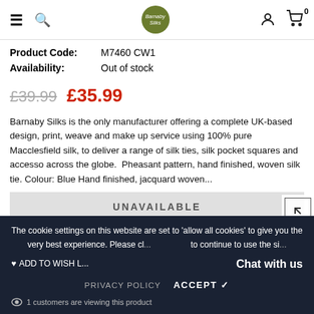Barnaby Silks website header with hamburger menu, search, logo, user account and cart icons
Product Code: M7460 CW1
Availability: Out of stock
£39.99  £35.99
Barnaby Silks is the only manufacturer offering a complete UK-based design, print, weave and make up service using 100% pure Macclesfield silk, to deliver a range of silk ties, silk pocket squares and accesso across the globe.  Pheasant pattern, hand finished, woven silk tie.  Colour: Blue Hand finished, jacquard woven...
UNAVAILABLE
The cookie settings on this website are set to 'allow all cookies' to give you the very best experience. Please cl... to continue to use the si...
ADD TO WISH L...
Chat with us
PRIVACY POLICY  ACCEPT ✔
1 customers are viewing this product